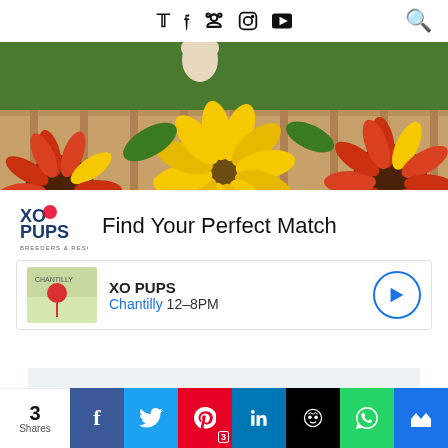Social media icons: Twitter, Facebook, Pinterest, Instagram, YouTube, Search
[Figure (photo): Banner photo of sunflowers with warm yellow and red-brown petals, green leaves, and wooden fence background with a puppy paw visible]
[Figure (logo): XO PUPS logo in blue and red]
Find Your Perfect Match
XO PUPS
Chantilly 12–8PM
COPYRIGHT STUFF
Pinning, Tweeting and Sharing content/images from this blog is
3 Shares | Facebook | Twitter | Pinterest 3 | LinkedIn | Hootsuite | WhatsApp | Crown